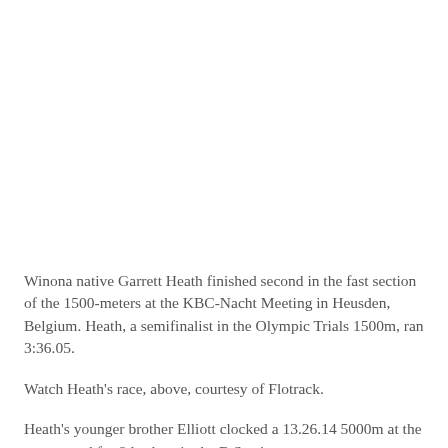Winona native Garrett Heath finished second in the fast section of the 1500-meters at the KBC-Nacht Meeting in Heusden, Belgium. Heath, a semifinalist in the Olympic Trials 1500m, ran 3:36.05.
Watch Heath's race, above, courtesy of Flotrack.
Heath's younger brother Elliott clocked a 13.26.14 5000m at the meet, good for 9th-place in the B Section.